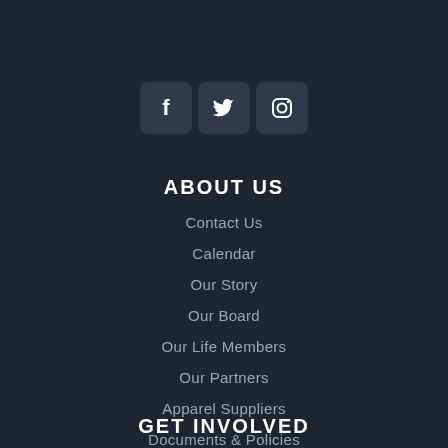[Figure (illustration): Three social media icons side by side: Facebook (f logo), Twitter (bird logo), Instagram (camera logo), each in a rounded square container]
ABOUT US
Contact Us
Calendar
Our Story
Our Board
Our Life Members
Our Partners
Apparel Suppliers
Documents & Policies
GET INVOLVED